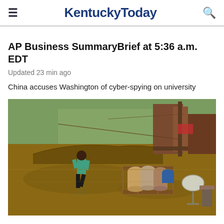KentuckyToday
AP Business SummaryBrief at 5:36 a.m. EDT
Updated 23 min ago
China accuses Washington of cyber-spying on university
[Figure (photo): A person walking through muddy floodwater near damaged property including barrels, a bed frame, satellite dish, and a green field in the background]